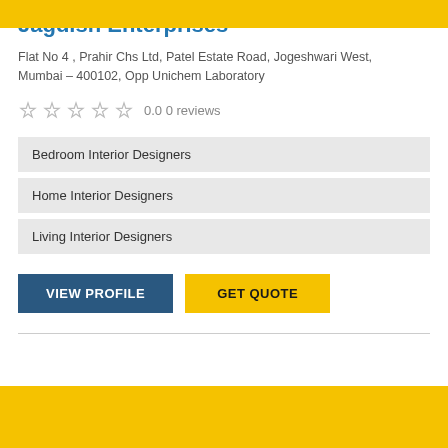Jagdish Enterprises
Flat No 4 , Prahir Chs Ltd, Patel Estate Road, Jogeshwari West, Mumbai – 400102, Opp Unichem Laboratory
0.0 0 reviews
Bedroom Interior Designers
Home Interior Designers
Living Interior Designers
VIEW PROFILE  GET QUOTE